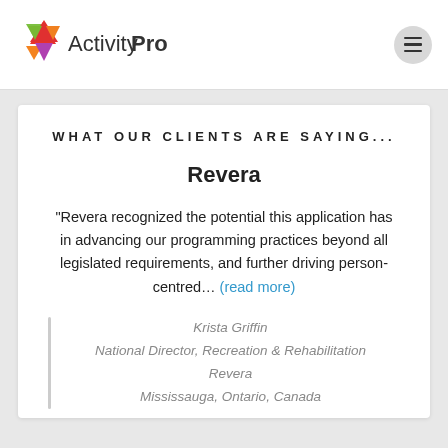[Figure (logo): ActivityPro logo with colorful triangular icon and wordmark]
WHAT OUR CLIENTS ARE SAYING...
Revera
“Revera recognized the potential this application has in advancing our programming practices beyond all legislated requirements, and further driving person-centred… (read more)
Krista Griffin
National Director, Recreation & Rehabilitation
Revera
Mississauga, Ontario, Canada